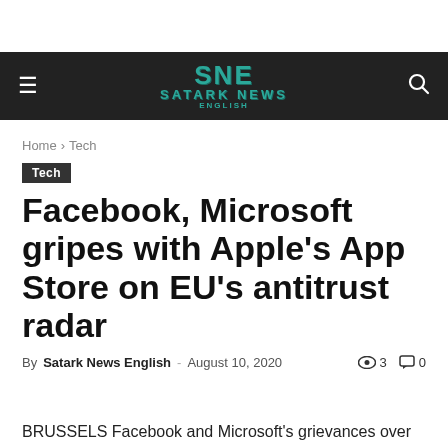SNE Satark News English
Home › Tech
Tech
Facebook, Microsoft gripes with Apple's App Store on EU's antitrust radar
By Satark News English - August 10, 2020  👁 3  💬 0
BRUSSELS Facebook and Microsoft's grievances over how